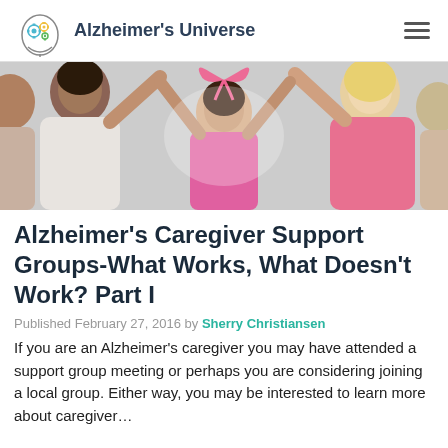Alzheimer's Universe
[Figure (photo): People holding their arms up together in a circle, with a pink awareness ribbon visible in the center]
Alzheimer's Caregiver Support Groups-What Works, What Doesn't Work? Part I
Published February 27, 2016 by Sherry Christiansen
If you are an Alzheimer's caregiver you may have attended a support group meeting or perhaps you are considering joining a local group. Either way, you may be interested to learn more about caregiver...